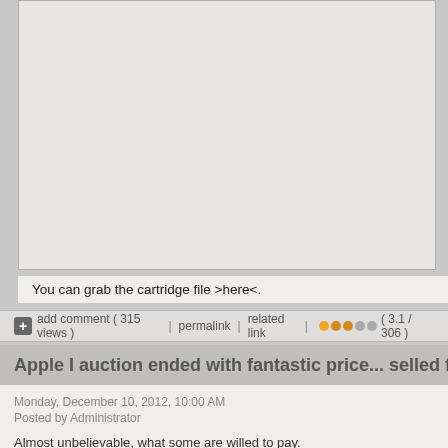[Figure (other): Large empty/gray content area (image or embedded content placeholder)]
You can grab the cartridge file >here<.
add comment ( 315 views )   |   permalink   |   related link   |   ( 3.1 / 306 )
Apple I auction ended with fantastic price... selled for ~half a million
Monday, December 10, 2012, 10:00 AM
Posted by Administrator
Almost unbelievable, what some are willed to pay.
An Apple I was auctioned for a price others would buy a house instead.